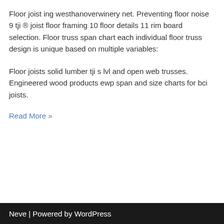Floor joist ing westhanoverwinery net. Preventing floor noise 9 tji ® joist floor framing 10 floor details 11 rim board selection. Floor truss span chart each individual floor truss design is unique based on multiple variables:
Floor joists solid lumber tji s lvl and open web trusses. Engineered wood products ewp span and size charts for bci joists.
Read More »
Neve | Powered by WordPress